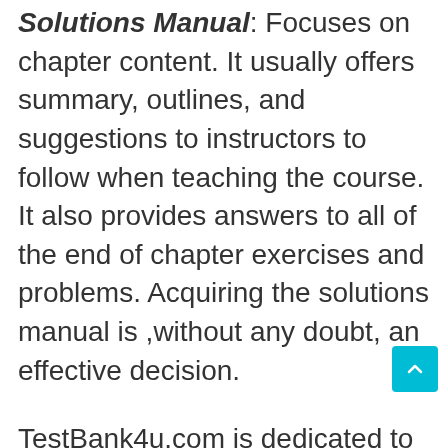Solutions Manual: Focuses on chapter content. It usually offers summary, outlines, and suggestions to instructors to follow when teaching the course. It also provides answers to all of the end of chapter exercises and problems. Acquiring the solutions manual is ,without any doubt, an effective decision.
TestBank4u.com is dedicated to offering the best and latest supplements such as test banks, solution manuals, and power points for thousands of textbooks.